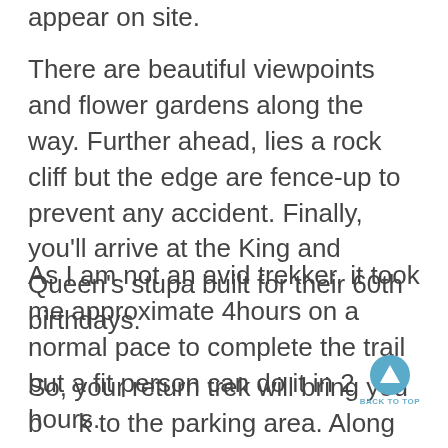appear on site.
There are beautiful viewpoints and flower gardens along the way. Further ahead, lies a rock cliff but the edge are fence-up to prevent any accident. Finally, you'll arrive at the King and Queen's stupa built for their 60th birthdays.
As I am not an avid trekker, it took me approximate 4hours on a normal pace to complete the trail but a fit person can do it in 2 hours.
So, your return trek will bring you back to the parking area. Along the way, you can detour to  Doi Pha Tang Royal Villa known